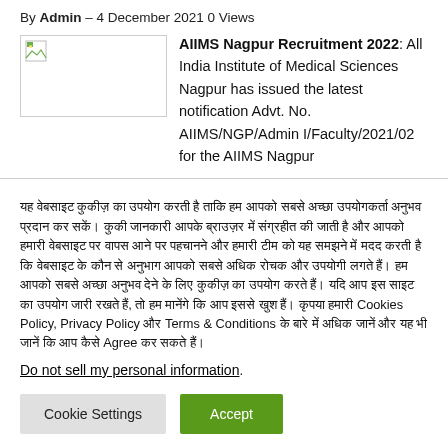By Admin – 4 December 2021 0 Views
[Figure (photo): Broken/placeholder image icon in a bordered box]
AIIMS Nagpur Recruitment 2022: All India Institute of Medical Sciences Nagpur has issued the latest notification Advt. No. AIIMS/NGP/Admin I/Faculty/2021/02 for the AIIMS Nagpur
Hindi cookie consent notice text mentioning Cookies Policy, Privacy Policy and Terms & Conditions with Agree button reference
Do not sell my personal information.
Cookie Settings | Accept